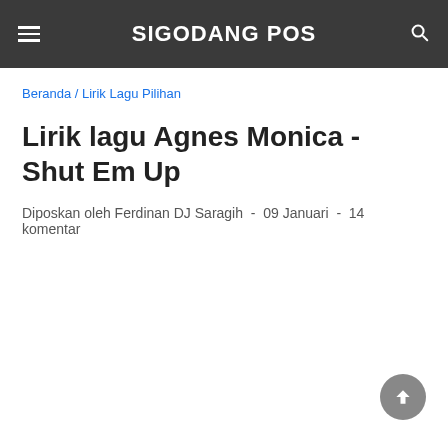SIGODANG POS
Beranda / Lirik Lagu Pilihan
Lirik lagu Agnes Monica - Shut Em Up
Diposkan oleh Ferdinan DJ Saragih  -  09 Januari  -  14 komentar